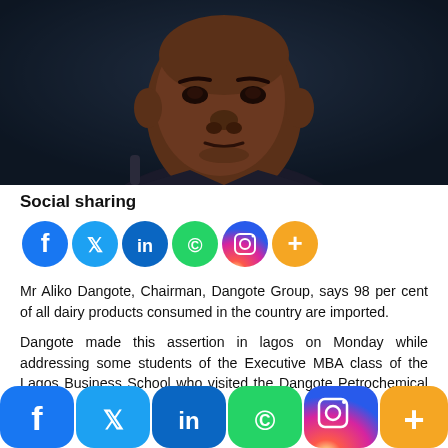[Figure (photo): Close-up portrait photo of Mr Aliko Dangote, a middle-aged African man in a suit, looking serious against a dark background]
Social sharing
[Figure (infographic): Row of social sharing icon buttons: Facebook (blue), Twitter (light blue), LinkedIn (dark blue), WhatsApp (green), Instagram (gradient), More/Plus (orange)]
Mr Aliko Dangote, Chairman, Dangote Group, says 98 per cent of all dairy products consumed in the country are imported.
Dangote made this assertion in lagos on Monday while addressing some students of the Executive MBA class of the Lagos Business School who visited the Dangote Petrochemical Refinery
[Figure (infographic): Bottom bar of large social sharing buttons: Facebook, Twitter, LinkedIn, WhatsApp, Instagram, More/Plus]